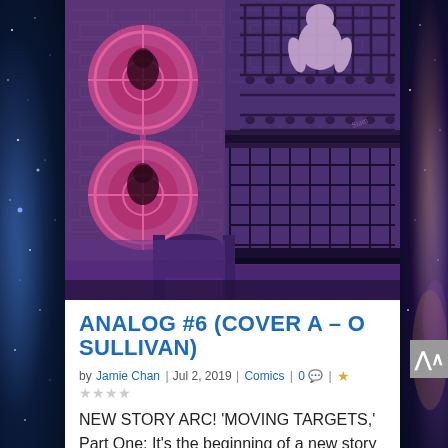[Figure (illustration): Comic book cover art for Analog #6 showing a figure in a cage on a fire escape, with crosshair circular target overlays showing two faces on the left side. Purple, mauve and dark tones. Brick wall background.]
ANALOG #6 (COVER A – O SULLIVAN)
by Jamie Chan | Jul 2, 2019 | Comics | 0 | ★☆☆☆☆
NEW STORY ARC! 'MOVING TARGETS,' Part One: It's the beginning of a new story arc and death is on the rails when Sam and